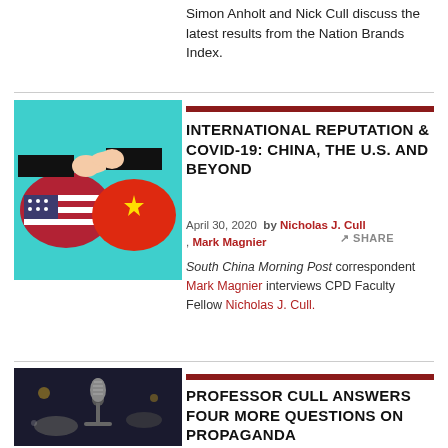Simon Anholt and Nick Cull discuss the latest results from the Nation Brands Index.
[Figure (illustration): Illustration of two figures with US and China flags, one pointing at the other, on a teal background]
INTERNATIONAL REPUTATION & COVID-19: CHINA, THE U.S. AND BEYOND
April 30, 2020 by Nicholas J. Cull , Mark Magnier
South China Morning Post correspondent Mark Magnier interviews CPD Faculty Fellow Nicholas J. Cull.
[Figure (photo): Dark photo of a microphone against a dark background with hands visible]
PROFESSOR CULL ANSWERS FOUR MORE QUESTIONS ON PROPAGANDA